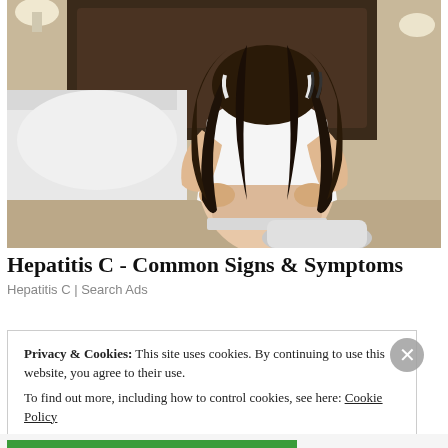[Figure (photo): Woman in white tank top sitting on bed, photographed from behind, holding her lower back with both hands, suggesting back pain. Long dark curly hair. White bedding visible.]
Hepatitis C - Common Signs & Symptoms
Hepatitis C | Search Ads
Privacy & Cookies: This site uses cookies. By continuing to use this website, you agree to their use.
To find out more, including how to control cookies, see here: Cookie Policy
Close and accept